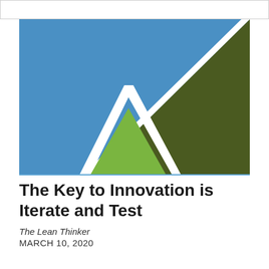[Figure (logo): Abstract logo with blue background, white mountain/arrow shapes, light green mountain shape, and dark olive-green triangle on the right]
The Key to Innovation is Iterate and Test
The Lean Thinker
MARCH 10, 2020